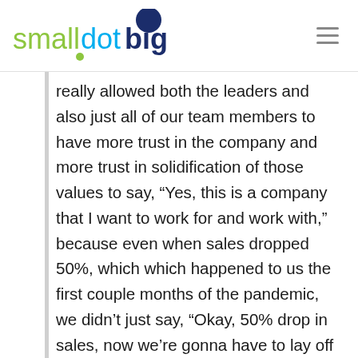smalldotbig
really allowed both the leaders and also just all of our team members to have more trust in the company and more trust in solidification of those values to say, “Yes, this is a company that I want to work for and work with,” because even when sales dropped 50%, which which happened to us the first couple months of the pandemic, we didn’t just say, “Okay, 50% drop in sales, now we’re gonna have to lay off a bunch of people.” Our whole objective was, “Let’s keep this team together, and let’s do it in a positive way.”